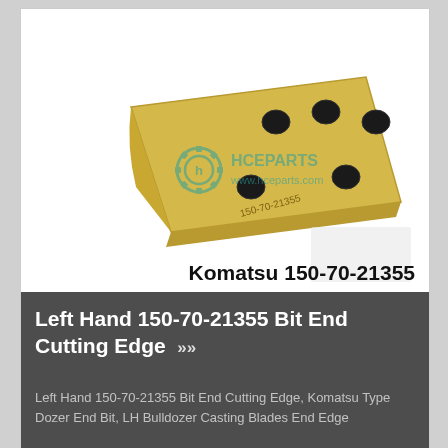[Figure (photo): Photo of a Komatsu 150-70-21355 Left Hand Dozer End Bit cutting edge blade — a trapezoidal yellow/gold metal plate with 5 bolt holes, branded with hceparts logo and www.hceparts.com watermark, and part number 150-70-21355 engraved on the surface.]
Komatsu 150-70-21355
Left Hand 150-70-21355 Bit End Cutting Edge  »»
Left Hand 150-70-21355 Bit End Cutting Edge, Komatsu Type Dozer End Bit, LH Bulldozer Casting Blades End Edge